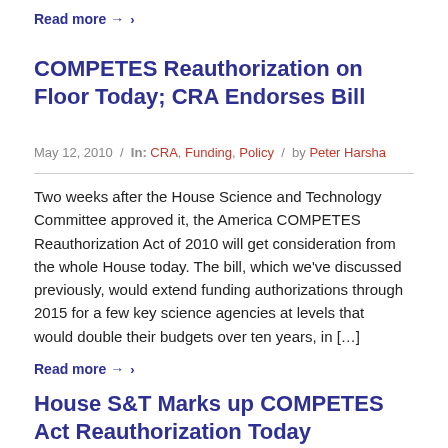Read more →
COMPETES Reauthorization on Floor Today; CRA Endorses Bill
May 12, 2010  /  In: CRA, Funding, Policy  /  by Peter Harsha
Two weeks after the House Science and Technology Committee approved it, the America COMPETES Reauthorization Act of 2010 will get consideration from the whole House today. The bill, which we've discussed previously, would extend funding authorizations through 2015 for a few key science agencies at levels that would double their budgets over ten years, in […]
Read more →
House S&T Marks up COMPETES Act Reauthorization Today